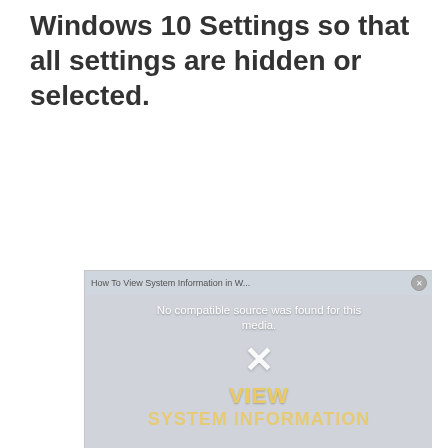Windows 10 Settings so that all settings are hidden or selected.
[Figure (screenshot): A video player overlay showing 'How To View System Information in W...' with a close button, 'No compatible source was found for this media.' message, an X icon, and text 'VIEW' and 'SYSTEM INFORMATION' in yellow, on a grayed-out background.]